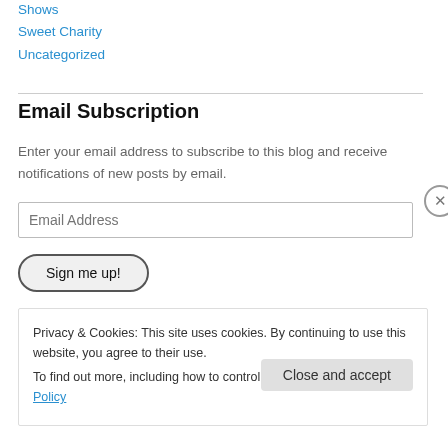Shows
Sweet Charity
Uncategorized
Email Subscription
Enter your email address to subscribe to this blog and receive notifications of new posts by email.
Privacy & Cookies: This site uses cookies. By continuing to use this website, you agree to their use. To find out more, including how to control cookies, see here: Cookie Policy
Close and accept